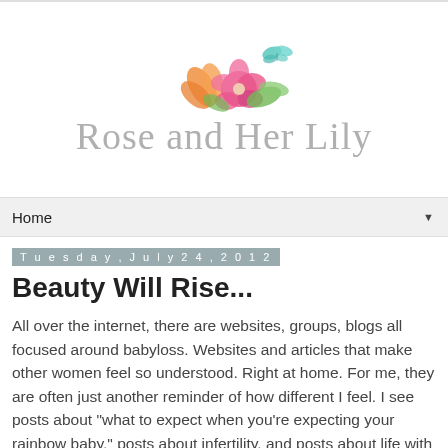[Figure (logo): Rose and Her Lily blog logo with watercolor flowers (orange lily, pink hibiscus, green leaves) and a teal butterfly above cursive script text reading 'Rose and Her Lily']
Home ▼
Tuesday, July 24, 2012
Beauty Will Rise...
All over the internet, there are websites, groups, blogs all focused around babyloss. Websites and articles that make other women feel so understood. Right at home. For me, they are often just another reminder of how different I feel. I see posts about "what to expect when you're expecting your rainbow baby," posts about infertility, and posts about life with a rainbow baby. But, where's the post entitled, "what to expect after your baby dies and it's not the time to have